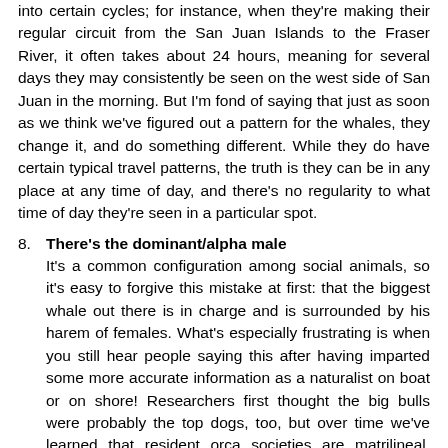into certain cycles; for instance, when they're making their regular circuit from the San Juan Islands to the Fraser River, it often takes about 24 hours, meaning for several days they may consistently be seen on the west side of San Juan in the morning. But I'm fond of saying that just as soon as we think we've figured out a pattern for the whales, they change it, and do something different. While they do have certain typical travel patterns, the truth is they can be in any place at any time of day, and there's no regularity to what time of day they're seen in a particular spot.
8. There's the dominant/alpha male
It's a common configuration among social animals, so it's easy to forgive this mistake at first: that the biggest whale out there is in charge and is surrounded by his harem of females. What's especially frustrating is when you still hear people saying this after having imparted some more accurate information as a naturalist on boat or on shore! Researchers first thought the big bulls were probably the top dogs, too, but over time we've learned that resident orca societies are matrilineal. Each pod is made up of a female, her offspring, her